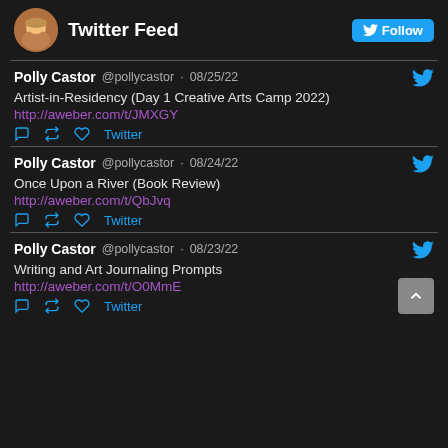Twitter Feed
Polly Castor @pollycastor · 08/25/22
Artist-in-Residency (Day 1 Creative Arts Camp 2022)
http://aweber.com/t/JMXGY
Polly Castor @pollycastor · 08/24/22
Once Upon a River (Book Review)
http://aweber.com/t/QbJvq
Polly Castor @pollycastor · 08/23/22
Writing and Art Journaling Prompts
http://aweber.com/t/O0MmE